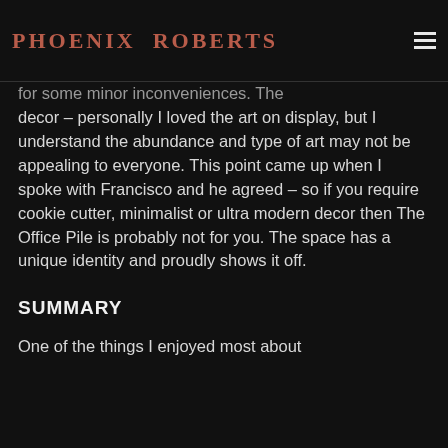Phoenix Roberts
for some minor inconveniences. The decor – personally I loved the art on display, but I understand the abundance and type of art may not be appealing to everyone.  This point came up when I spoke with Francisco and he agreed – so if you require cookie cutter, minimalist or ultra modern decor then The Office Pile is probably not for you.  The space has a unique identity and proudly shows it off.
SUMMARY
One of the things I enjoyed most about